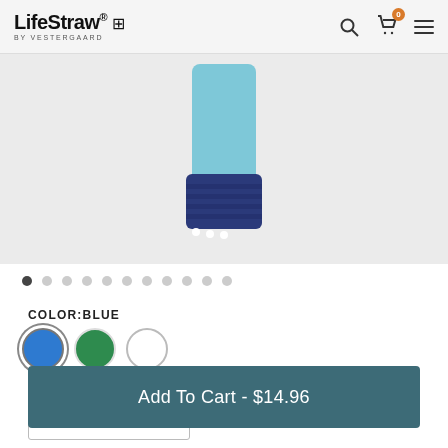LifeStraw® by VESTERGAARD
[Figure (photo): Partial product photo showing the bottom portion of a blue/navy LifeStraw water filter bottle against a light gray background]
COLOR:BLUE
[Figure (other): Three color swatches: blue (selected, with ring), green, and white]
1
Add To Cart - $14.96